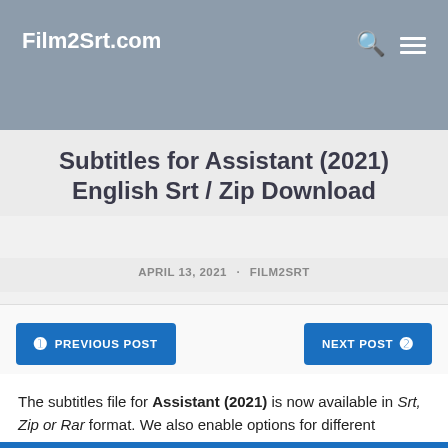Film2Srt.com
Subtitles for Assistant (2021) English Srt / Zip Download
APRIL 13, 2021 · FILM2SRT
PREVIOUS POST
NEXT POST
The subtitles file for Assistant (2021) is now available in Srt, Zip or Rar format. We also enable options for different languages should incase you preferred another language rather than English.